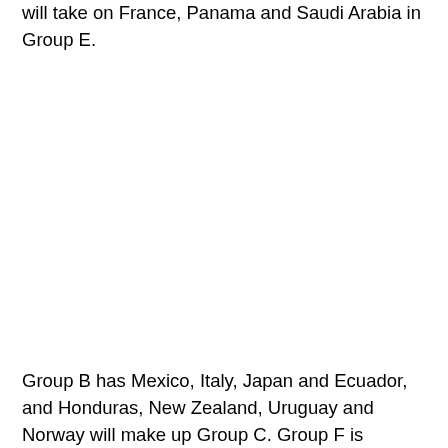will take on France, Panama and Saudi Arabia in Group E.
Group B has Mexico, Italy, Japan and Ecuador, and Honduras, New Zealand, Uruguay and Norway will make up Group C. Group F is composed of another African flag bearer South